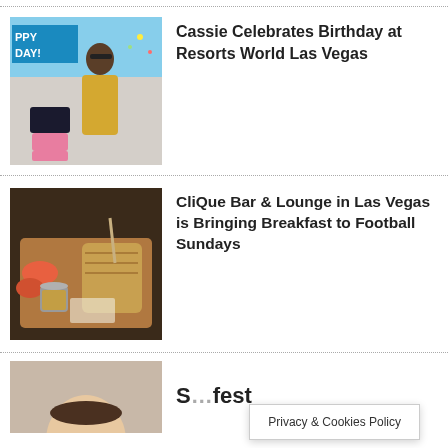[Figure (photo): Woman in gold dress with birthday cakes at an outdoor pool party event, 'HAPPY BIRTHDAY!' sign in background]
Cassie Celebrates Birthday at Resorts World Las Vegas
[Figure (photo): Food platter on a wooden cutting board with a small metal cup of sauce, salmon pieces, and grilled bread items]
CliQue Bar & Lounge in Las Vegas is Bringing Breakfast to Football Sundays
[Figure (photo): Partial view of a person, bottom of page]
S…fest
Privacy & Cookies Policy